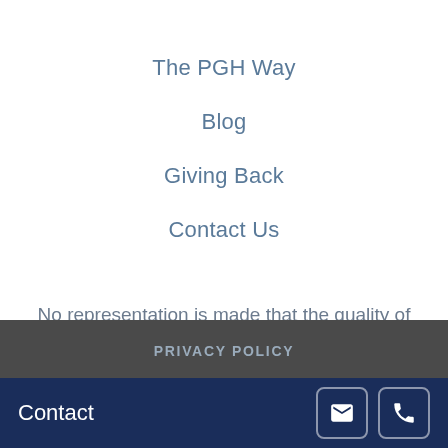The PGH Way
Blog
Giving Back
Contact Us
No representation is made that the quality of legal services to be performed is greater than the legal services performed by other lawyers.
PRIVACY POLICY
Contact